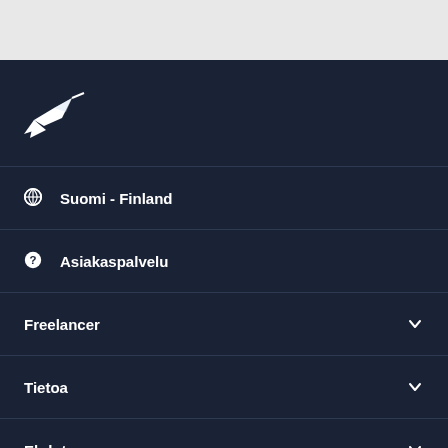[Figure (logo): Freelancer.com hummingbird logo (white) on dark navy background]
Suomi - Finland
Asiakaspalvelu
Freelancer
Tietoa
Ehdot